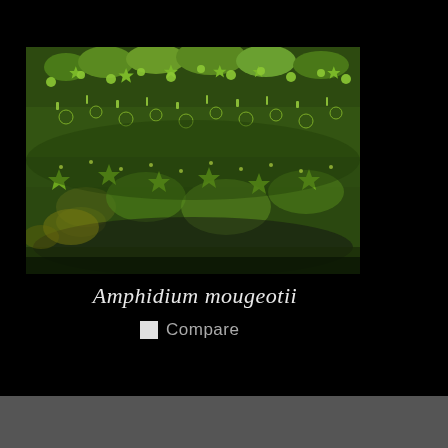[Figure (photo): Close-up photograph of Amphidium mougeotii moss, showing dense green star-shaped moss shoots covering a surface, with some yellowish-brown patches visible]
Amphidium mougeotii
Compare